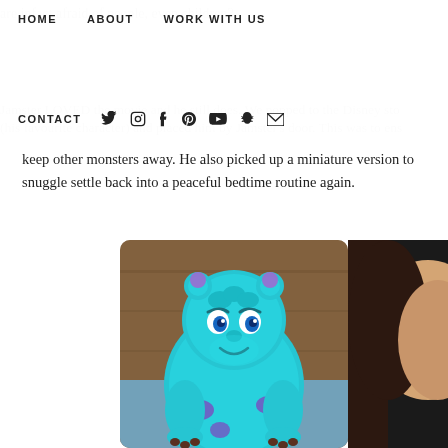HOME   ABOUT   WORK WITH US
CONTACT  [social icons: twitter, instagram, facebook, pinterest, youtube, snapchat, email]
are infact afraid of people, even children?
Jamster LOVED the movie and he still does. We popped to the Disney sto (his favourite character) and placed him by Jamster's door. This was to ens keep other monsters away. He also picked up a miniature version to snuggle settle back into a peaceful bedtime routine again.
[Figure (photo): Sully plush toy from Monsters Inc, blue and purple fuzzy stuffed animal sitting on a blue surface against a wooden background]
[Figure (photo): Partial view of a child's face and hair on the right edge of the page]